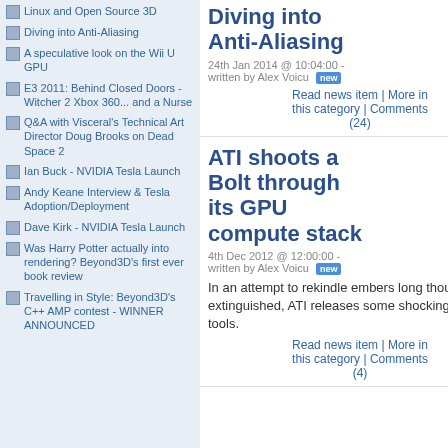Linux and Open Source 3D
Diving into Anti-Aliasing
A speculative look on the Wii U GPU
E3 2011: Behind Closed Doors - Witcher 2 Xbox 360... and a Nurse
Q&A with Visceral's Technical Art Director Doug Brooks on Dead Space 2
Ian Buck - NVIDIA Tesla Launch
Andy Keane Interview & Tesla Adoption/Deployment
Dave Kirk - NVIDIA Tesla Launch
Was Harry Potter actually into rendering? Beyond3D's first ever book review
Travelling in Style: Beyond3D's C++ AMP contest - WINNER ANNOUNCED
Diving into Anti-Aliasing
24th Jan 2014 @ 10:04:00 - written by Alex Voicu [NEW]
Read news item | More in this category | Comments (24)
ATI shoots a Bolt through its GPU compute stack
4th Dec 2012 @ 12:00:00 - written by Alex Voicu [NEW]
In an attempt to rekindle embers long thought extinguished, ATI releases some shockingly useful tools.
Read news item | More in this category | Comments (4)
David K... again pr... answers... architec... Head on... follow th... death! Read li... t...
AMD Code
3rd Dec 2...
written by...
AMD ad... heteroge... heteroge... landsca... Read n... this cat...
Anal Brid...